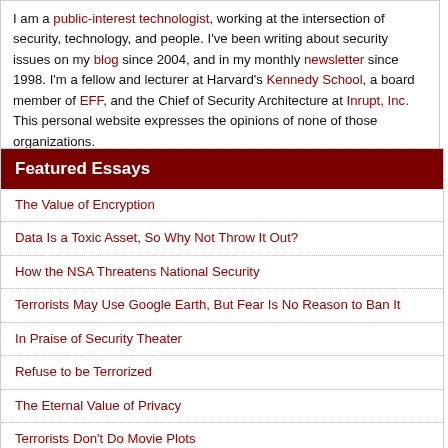I am a public-interest technologist, working at the intersection of security, technology, and people. I've been writing about security issues on my blog since 2004, and in my monthly newsletter since 1998. I'm a fellow and lecturer at Harvard's Kennedy School, a board member of EFF, and the Chief of Security Architecture at Inrupt, Inc. This personal website expresses the opinions of none of those organizations.
Featured Essays
The Value of Encryption
Data Is a Toxic Asset, So Why Not Throw It Out?
How the NSA Threatens National Security
Terrorists May Use Google Earth, But Fear Is No Reason to Ban It
In Praise of Security Theater
Refuse to be Terrorized
The Eternal Value of Privacy
Terrorists Don't Do Movie Plots
More Essays